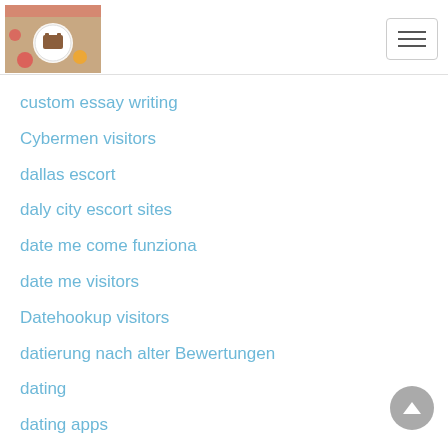[Figure (screenshot): Website header with food/cookbook logo image on left and hamburger menu button on right]
custom essay writing
Cybermen visitors
dallas escort
daly city escort sites
date me come funziona
date me visitors
Datehookup visitors
datierung nach alter Bewertungen
dating
dating apps
Dating apps sites